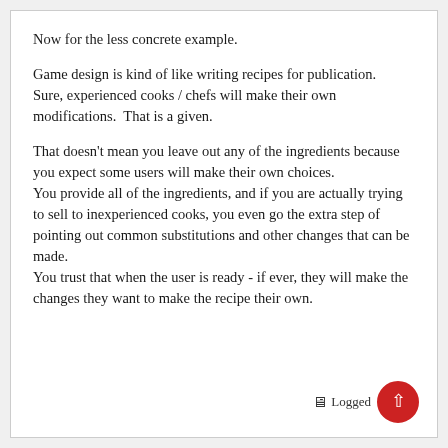Now for the less concrete example.
Game design is kind of like writing recipes for publication.
Sure, experienced cooks / chefs will make their own modifications.  That is a given.
That doesn't mean you leave out any of the ingredients because you expect some users will make their own choices.
You provide all of the ingredients, and if you are actually trying to sell to inexperienced cooks, you even go the extra step of pointing out common substitutions and other changes that can be made.
You trust that when the user is ready - if ever, they will make the changes they want to make the recipe their own.
🖥 Logged